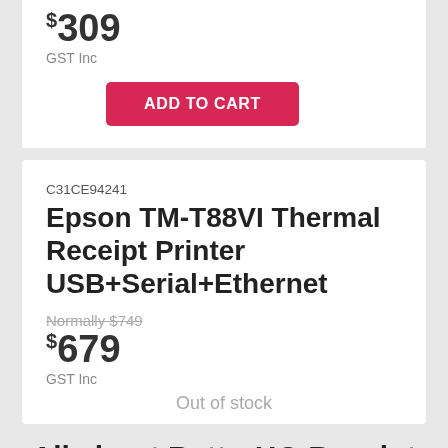$309 GST Inc
ADD TO CART
C31CE94241
Epson TM-T88VI Thermal Receipt Printer USB+Serial+Ethernet
Normally $749
$679 GST Inc
Out of stock
All about BetterHQ Receipt Printers
Cash Register Warehouse has been appointed the preferred supplier for BetterHQ Receipt Printers and